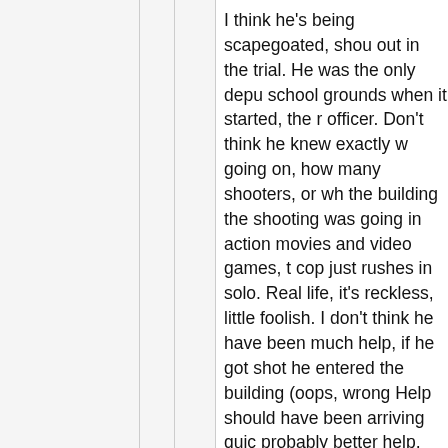I think he's being scapegoated, shou out in the trial. He was the only depu school grounds when it started, the r officer. Don't think he knew exactly w going on, how many shooters, or wh the building the shooting was going in action movies and video games, t cop just rushes in solo. Real life, it's reckless, little foolish. I don't think he have been much help, if he got shot he entered the building (oops, wrong Help should have been arriving quic probably better help, being the resou officer, and already knowing which b and his way around the campus.
It's a public school, and likely had w deemed sufficient security, probably than most. An AR 15 can be folded u a backpack, duffle bag, or in your ca purse. Only weighs about 6 lbs, doe attract much attention when conceal guess the only way to be safe, and a debate, would be just to pass them o to anybody who wants one, and one